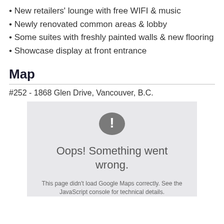• New retailers' lounge with free WIFI & music
• Newly renovated common areas & lobby
• Some suites with freshly painted walls & new flooring
• Showcase display at front entrance
Map
#252 - 1868 Glen Drive, Vancouver, B.C.
[Figure (screenshot): Google Maps embed showing an error state: grey background with a warning icon (exclamation mark in a circle) and the text 'Oops! Something went wrong.' with a sub-message 'This page didn't load Google Maps correctly. See the JavaScript console for technical details.']